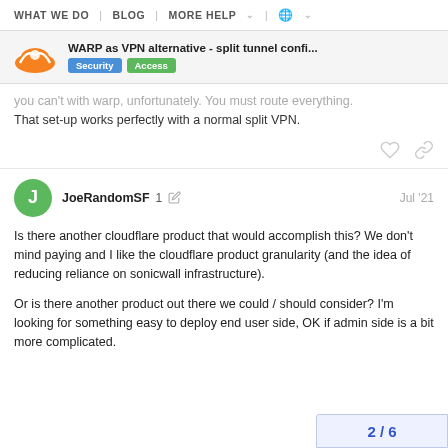WHAT WE DO | BLOG | MORE HELP | (globe)
WARP as VPN alternative - split tunnel confi...
Security Access
...you can't with warp, unfortunately. You must route everything. That set-up works perfectly with a normal split VPN.
JoeRandomSF 1 Jul '21
Is there another cloudflare product that would accomplish this? We don't mind paying and I like the cloudflare product granularity (and the idea of reducing reliance on sonicwall infrastructure).

Or is there another product out there we could / should consider? I'm looking for something easy to deploy end user side, OK if admin side is a bit more complicated.
2 / 6